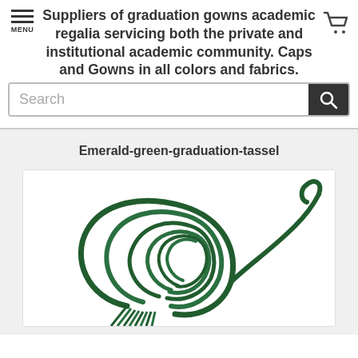Suppliers of graduation gowns academic regalia servicing both the private and institutional academic community. Caps and Gowns in all colors and fabrics.
Search
Emerald-green-graduation-tassel
[Figure (photo): Photo of an emerald green graduation tassel coiled and displayed on a white background]